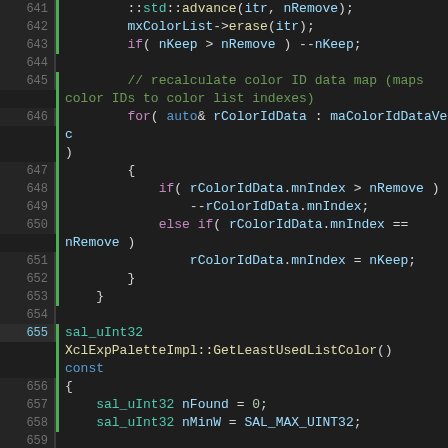[Figure (screenshot): C++ source code editor screenshot showing lines 641-666 of a color palette implementation, with syntax highlighting on a dark background. The code shows color list manipulation and GetLeastUsedListColor function.]